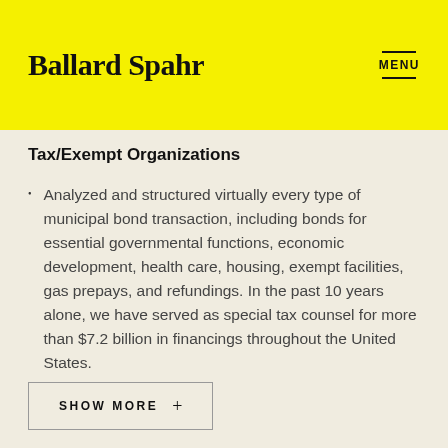Ballard Spahr | MENU
Tax/Exempt Organizations
Analyzed and structured virtually every type of municipal bond transaction, including bonds for essential governmental functions, economic development, health care, housing, exempt facilities, gas prepays, and refundings. In the past 10 years alone, we have served as special tax counsel for more than $7.2 billion in financings throughout the United States.
SHOW MORE +